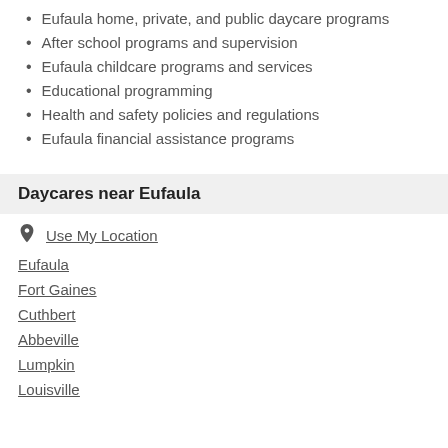Eufaula home, private, and public daycare programs
After school programs and supervision
Eufaula childcare programs and services
Educational programming
Health and safety policies and regulations
Eufaula financial assistance programs
Daycares near Eufaula
Use My Location
Eufaula
Fort Gaines
Cuthbert
Abbeville
Lumpkin
Louisville